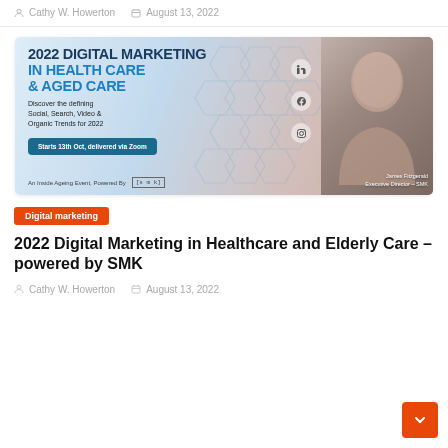Cathy W. Howerton  August 13, 2022
[Figure (illustration): Banner advertisement for 2022 Digital Marketing in Health Care & Aged Care event. Dark blue and teal text on light blue gradient background with hexagonal pattern overlay. Social media icons (LinkedIn, Facebook, Instagram). Photo of James Fitzgerald, Executive Director – SMK. Text: '2022 DIGITAL MARKETING IN HEALTH CARE & AGED CARE. Discover the defining Social, Search, Video & Organic Trends for 2022. Starts 13th Oct, delivered via Zoom. An Inside Ageing Event, Powered By [s m k]'. James Fitzgerald Executive Director – SMK.]
Digital marketing
2022 Digital Marketing in Healthcare and Elderly Care – powered by SMK
Cathy W. Howerton  August 13, 2022